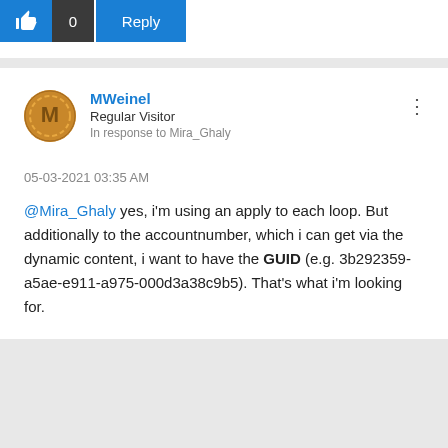[Figure (screenshot): Like button (thumbs up icon), count 0, and Reply button in blue]
MWeinel
Regular Visitor
In response to Mira_Ghaly
05-03-2021 03:35 AM
@Mira_Ghaly yes, i'm using an apply to each loop. But additionally to the accountnumber, which i can get via the dynamic content, i want to have the GUID (e.g. 3b292359-a5ae-e911-a975-000d3a38c9b5). That's what i'm looking for.